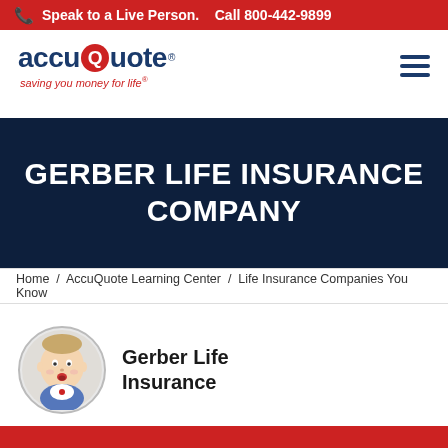Speak to a Live Person. Call 800-442-9899
[Figure (logo): AccuQuote logo with red Q circle and tagline 'saving you money for life']
GERBER LIFE INSURANCE COMPANY
Home / AccuQuote Learning Center / Life Insurance Companies You Know
[Figure (logo): Gerber Life Insurance logo with baby face in circle]